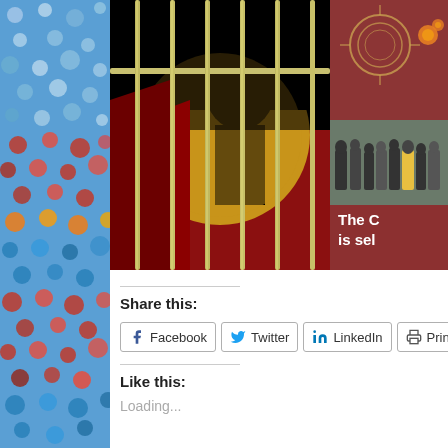[Figure (illustration): Image showing Aboriginal flag artwork with prison bars overlaid, person silhouette behind bars. To the right is a partial thumbnail showing a group of people and partial text 'The C... is sel...' on a dark red background with decorative circular motif.]
Share this:
Facebook
Twitter
LinkedIn
Print
Email
Like this:
Loading...